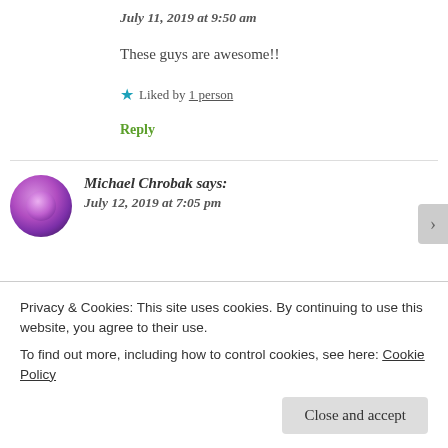July 11, 2019 at 9:50 am
These guys are awesome!!
Liked by 1 person
Reply
Michael Chrobak says:
July 12, 2019 at 7:05 pm
Privacy & Cookies: This site uses cookies. By continuing to use this website, you agree to their use.
To find out more, including how to control cookies, see here: Cookie Policy
Close and accept